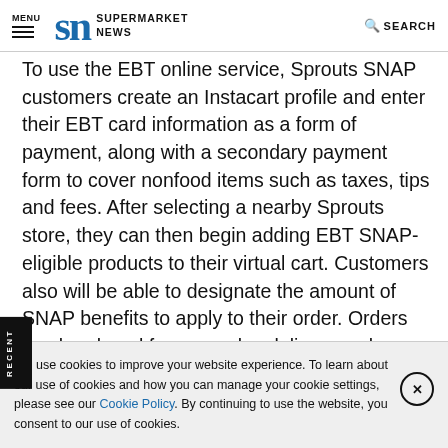MENU | SN SUPERMARKET NEWS | SEARCH
To use the EBT online service, Sprouts SNAP customers create an Instacart profile and enter their EBT card information as a form of payment, along with a secondary payment form to cover nonfood items such as taxes, tips and fees. After selecting a nearby Sprouts store, they can then begin adding EBT SNAP-eligible products to their virtual cart. Customers also will be able to designate the amount of SNAP benefits to apply to their order. Orders can be placed for same-day delivery and pickup service.
We use cookies to improve your website experience. To learn about our use of cookies and how you can manage your cookie settings, please see our Cookie Policy. By continuing to use the website, you consent to our use of cookies.